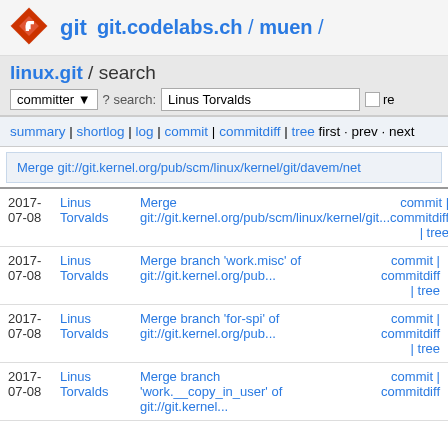git git.codelabs.ch / muen /
linux.git / search
committer ? search: Linus Torvalds re
summary | shortlog | log | commit | commitdiff | tree first · prev · next
Merge git://git.kernel.org/pub/scm/linux/kernel/git/davem/net
| Date | Author | Message | Actions |
| --- | --- | --- | --- |
| 2017-
07-08 | Linus Torvalds | Merge git://git.kernel.org/pub/scm/linux/kernel/git... | commit | commitdiff | tree |
| 2017-
07-08 | Linus Torvalds | Merge branch 'work.misc' of git://git.kernel.org/pub... | commit | commitdiff | tree |
| 2017-
07-08 | Linus Torvalds | Merge branch 'for-spi' of git://git.kernel.org/pub... | commit | commitdiff | tree |
| 2017-
07-08 | Linus Torvalds | Merge branch 'work.__copy_in_user' of git://git.kernel... | commit | commitdiff |